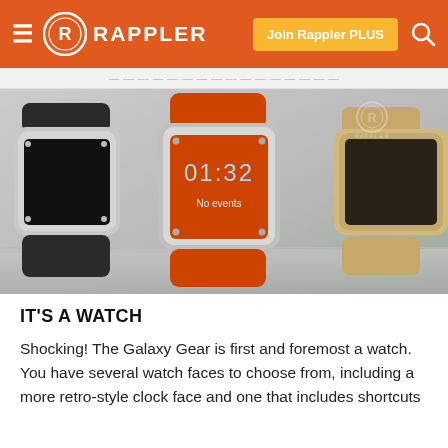Rappler — Join Rappler PLUS
[Figure (photo): Three Samsung Galaxy Gear smartwatches displayed on a stand. The center watch has an orange strap and shows '01:32' and 'No events' on its screen. The left watch has a black strap and the right watch has a gold/champagne strap. A Rappler watermark is visible in the top right corner of the photo.]
IT'S A WATCH
Shocking! The Galaxy Gear is first and foremost a watch. You have several watch faces to choose from, including a more retro-style clock face and one that includes shortcuts